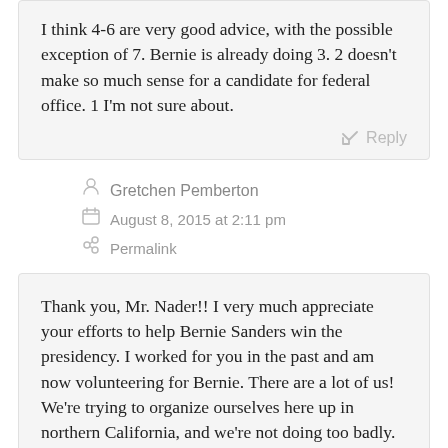I think 4-6 are very good advice, with the possible exception of 7. Bernie is already doing 3. 2 doesn't make so much sense for a candidate for federal office. 1 I'm not sure about.
Reply
Gretchen Pemberton
August 8, 2015 at 2:11 pm
Permalink
Thank you, Mr. Nader!! I very much appreciate your efforts to help Bernie Sanders win the presidency. I worked for you in the past and am now volunteering for Bernie. There are a lot of us! We're trying to organize ourselves here up in northern California, and we're not doing too badly.
I wish you all the best! When possible, could you